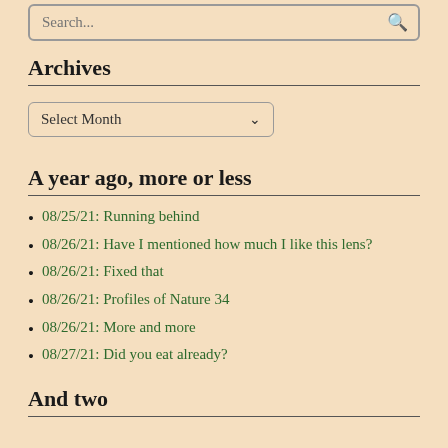Search...
Archives
Select Month
A year ago, more or less
08/25/21: Running behind
08/26/21: Have I mentioned how much I like this lens?
08/26/21: Fixed that
08/26/21: Profiles of Nature 34
08/26/21: More and more
08/27/21: Did you eat already?
And two